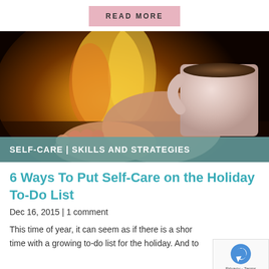READ MORE
[Figure (photo): A person holding a white mug of coffee with bare feet near a fireplace in the background, warm cozy atmosphere]
SELF-CARE | SKILLS AND STRATEGIES
6 Ways To Put Self-Care on the Holiday To-Do List
Dec 16, 2015 | 1 comment
This time of year, it can seem as if there is a short time with a growing to-do list for the holiday. And to